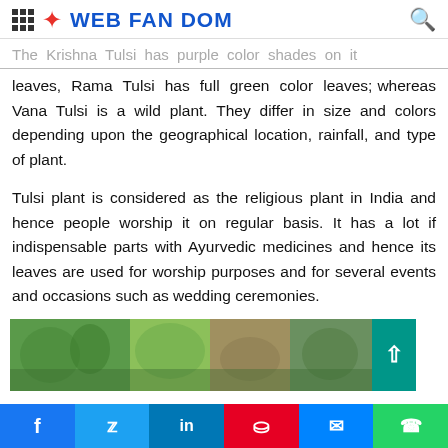WEB FAN DOM
The Krishna Tulsi has purple color shades on its leaves, Rama Tulsi has full green color leaves; whereas Vana Tulsi is a wild plant. They differ in size and colors depending upon the geographical location, rainfall, and type of plant.
Tulsi plant is considered as the religious plant in India and hence people worship it on regular basis. It has a lot if indispensable parts with Ayurvedic medicines and hence its leaves are used for worship purposes and for several events and occasions such as wedding ceremonies.
[Figure (photo): Photo of Tulsi (holy basil) plants growing outdoors]
Social sharing bar with Facebook, Twitter, LinkedIn, Pinterest, Messenger, WhatsApp buttons